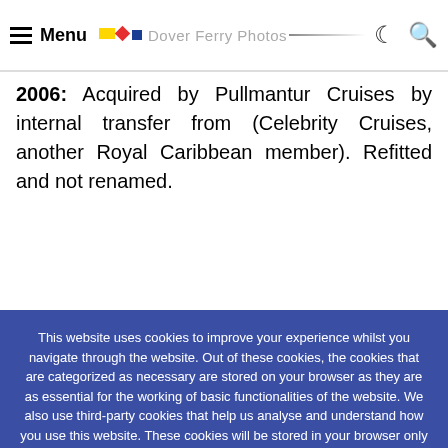Menu | Dover Ferry Photos [logo]
2006: Acquired by Pullmantur Cruises by internal transfer from (Celebrity Cruises, another Royal Caribbean member). Refitted and not renamed.
This website uses cookies to improve your experience whilst you navigate through the website. Out of these cookies, the cookies that are categorized as necessary are stored on your browser as they are as essential for the working of basic functionalities of the website. We also use third-party cookies that help us analyse and understand how you use this website. These cookies will be stored in your browser only with your consent. You also have the option to opt-out of these cookies. But opting out of some of these cookies may have an effect on your browsing experience.
Accept All
Reject
Cookie settings
Read More